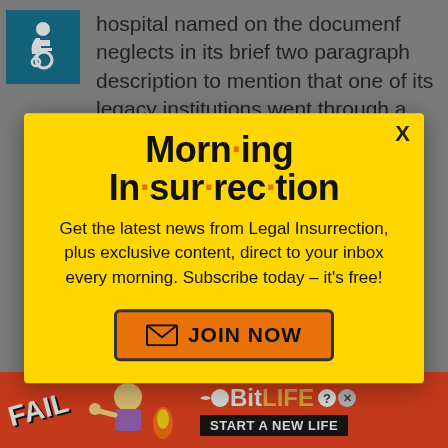[Figure (illustration): Accessibility icon (person in wheelchair) in teal/blue square]
hospital named on the document neglects in its brief two paragraph description to mention that one of its legacy institutions went through a
[Figure (infographic): Morning Insurrection newsletter popup modal with yellow background. Title: 'Morn·ing In·sur·rec·tion'. Body text: 'Get the latest news from Legal Insurrection, plus exclusive content, direct to your inbox every morning. Subscribe today – it's free!' with an orange JOIN NOW button. Close X in top right.]
blame it rather. We can be up on the issues of a·ging economy,
[Figure (advertisement): BitLife advertisement banner: red background with FAIL graphic, woman facepalming, fire emoji, BitLife logo, and START A NEW LIFE text. Close X overlay button visible.]